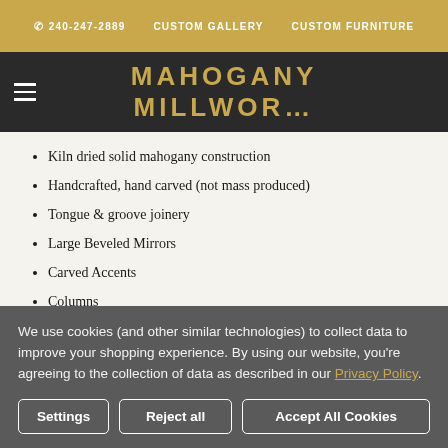240-247-2889  CUSTOM GALLERY  CUSTOM FURNITURE
MAHOGANY MILLWOR…
Kiln dried solid mahogany construction
Handcrafted, hand carved (not mass produced)
Tongue & groove joinery
Large Beveled Mirrors
Carved Accents
Columns
Spacious Top Surfaces
Paneled Raised Beveled Surfaces
We use cookies (and other similar technologies) to collect data to improve your shopping experience. By using our website, you're agreeing to the collection of data as described in our Privacy Policy.